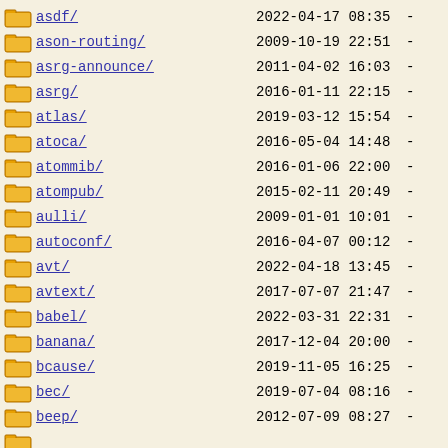asdf/ 2022-04-17 08:35 -
ason-routing/ 2009-10-19 22:51 -
asrg-announce/ 2011-04-02 16:03 -
asrg/ 2016-01-11 22:15 -
atlas/ 2019-03-12 15:54 -
atoca/ 2016-05-04 14:48 -
atommib/ 2016-01-06 22:00 -
atompub/ 2015-02-11 20:49 -
aulli/ 2009-01-01 10:01 -
autoconf/ 2016-04-07 00:12 -
avt/ 2022-04-18 13:45 -
avtext/ 2017-07-07 21:47 -
babel/ 2022-03-31 22:31 -
banana/ 2017-12-04 20:00 -
bcause/ 2019-11-05 16:25 -
bec/ 2019-07-04 08:16 -
beep/ 2012-07-09 08:27 -